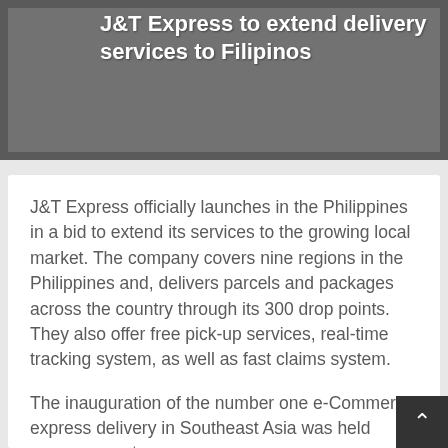J&T Express to extend delivery services to Filipinos
J&T Express officially launches in the Philippines in a bid to extend its services to the growing local market. The company covers nine regions in the Philippines and, delivers parcels and packages across the country through its 300 drop points. They also offer free pick-up services, real-time tracking system, as well as fast claims system.
The inauguration of the number one e-Commerce express delivery in Southeast Asia was held recently at 1st Avenue, Mañalac Estate, Bagumbayan in Taguig City, gathering J&T Express executives, representatives from the Office of the City Mayor, as well as guest